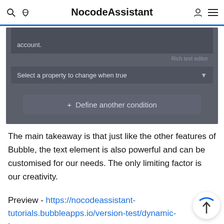NocodeAssistant
[Figure (screenshot): Dark UI panel showing a rich text editor area with text 'account.', a label 'Rich text editor', a dropdown 'Select a property to change when true', and a button '+ Define another condition']
The main takeaway is that just like the other features of Bubble, the text element is also powerful and can be customised for our needs. The only limiting factor is our creativity.
Preview - https://nocodeassistant-tutorials.bubbleapps.io/version-test/dynamic-te…